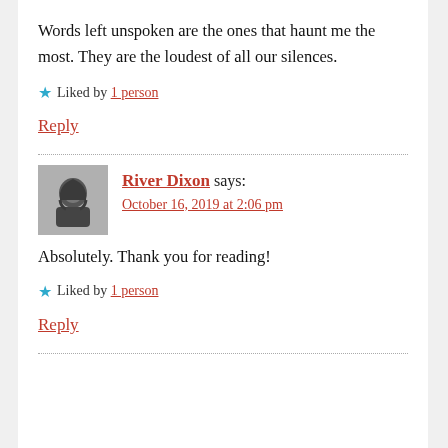Words left unspoken are the ones that haunt me the most. They are the loudest of all our silences.
★ Liked by 1 person
Reply
River Dixon says:
October 16, 2019 at 2:06 pm
Absolutely. Thank you for reading!
★ Liked by 1 person
Reply